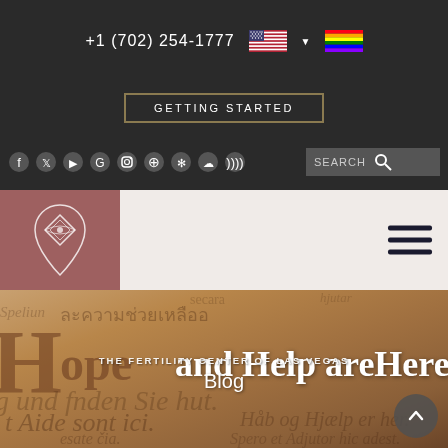+1 (702) 254-1777
GETTING STARTED
[Figure (screenshot): Social media icons: Facebook, Twitter, YouTube, Google, Instagram, Pinterest, Yelp, Podcast, RSS feed icons in dark navigation bar]
[Figure (logo): The Fertility Center of Las Vegas logo - diamond/teardrop shaped ornamental design in white on mauve/rose background]
[Figure (photo): Hero banner image with multilingual text wallpaper in bronze/tan tones. Large 3D letters 'Hope and Help are Here' appear in center. Text THE FERTILITY CENTER OF LAS VEGAS and Blog overlay in white.]
THE FERTILITY CENTER OF LAS VEGAS
Blog